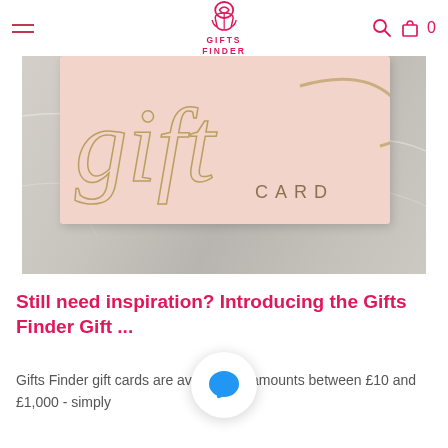GIFTS FINDER
[Figure (photo): A pink gift card with gold cursive 'gift' script and 'CARD' text in gold, placed on a marble surface background]
Still need inspiration? Introducing the Gifts Finder Gift ...
Gifts Finder gift cards are available in amounts between £10 and £1,000 - simply